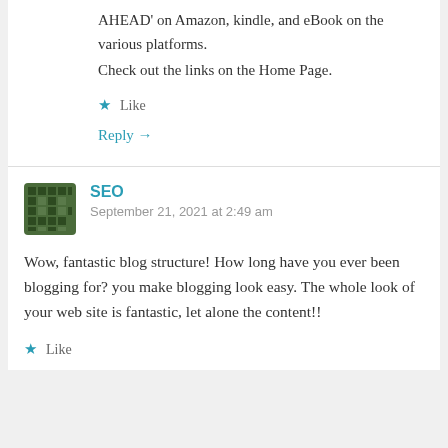AHEAD’ on Amazon, kindle, and eBook on the various platforms.
Check out the links on the Home Page.
★ Like
Reply →
SEO
September 21, 2021 at 2:49 am
Wow, fantastic blog structure! How long have you ever been blogging for? you make blogging look easy. The whole look of your web site is fantastic, let alone the content!!
★ Like